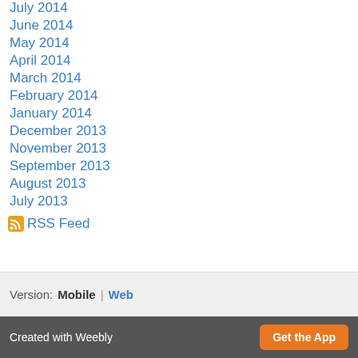July 2014
June 2014
May 2014
April 2014
March 2014
February 2014
January 2014
December 2013
November 2013
September 2013
August 2013
July 2013
RSS Feed
Version: Mobile | Web
Created with Weebly  Get the App